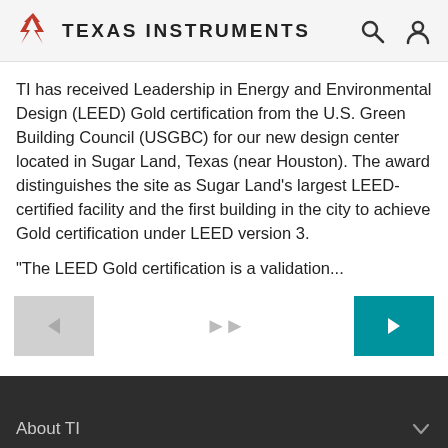Texas Instruments
TI has received Leadership in Energy and Environmental Design (LEED) Gold certification from the U.S. Green Building Council (USGBC) for our new design center located in Sugar Land, Texas (near Houston). The award distinguishes the site as Sugar Land's largest LEED-certified facility and the first building in the city to achieve Gold certification under LEED version 3.
"The LEED Gold certification is a validation...
About TI
Quick links